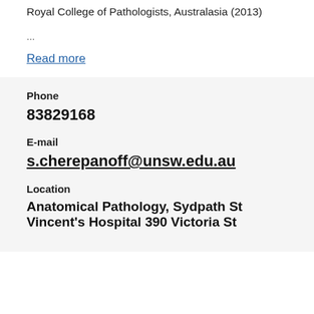Royal College of Pathologists, Australasia (2013)
...
Read more
Phone
83829168
E-mail
s.cherepanoff@unsw.edu.au
Location
Anatomical Pathology, Sydpath St Vincent's Hospital 390 Victoria St